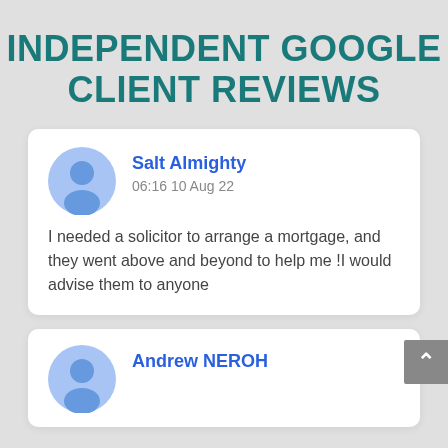INDEPENDENT GOOGLE CLIENT REVIEWS
Salt Almighty
06:16 10 Aug 22
I needed a solicitor to arrange a mortgage, and they went above and beyond to help me !I would advise them to anyone
Andrew NEROH